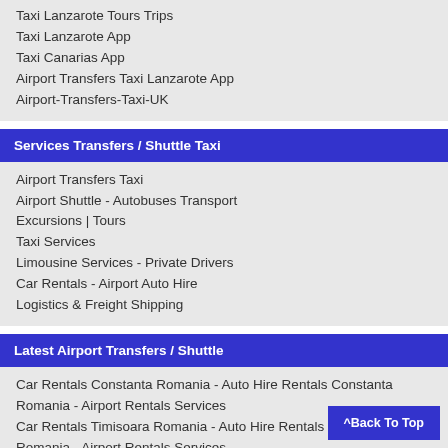Taxi Lanzarote Tours Trips
Taxi Lanzarote App
Taxi Canarias App
Airport Transfers Taxi Lanzarote App
Airport-Transfers-Taxi-UK
Services Transfers / Shuttle Taxi
Airport Transfers Taxi
Airport Shuttle - Autobuses Transport
Excursions | Tours
Taxi Services
Limousine Services - Private Drivers
Car Rentals - Airport Auto Hire
Logistics & Freight Shipping
Latest Airport Transfers / Shuttle
Car Rentals Constanta Romania - Auto Hire Rentals Constanta Romania - Airport Rentals Services
Car Rentals Timisoara Romania - Auto Hire Rentals Timisoara Romania - Airport Rentals Services
Car Rentals Stefanesti Arges Romania - Auto Hire Rentals Stefanesti Arges Romania - Airport Rentals Services
Car Rentals Bascov Arges Romania - Auto Hire Rentals Bascov Arges Romania - Airport Rentals Services
Car Rentals Arges Romania - Auto Hire Rentals A... Airport Rentals Services
^Back To Top